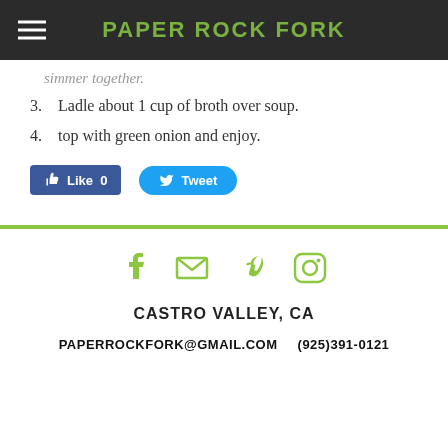PAPER ROCK FORK
simmer together.
3. Ladle about 1 cup of broth over soup.
4. top with green onion and enjoy.
[Figure (other): Facebook Like button (0 likes) and Twitter Tweet button]
[Figure (other): Footer social icons: Facebook, Email, Vimeo, Instagram in green]
CASTRO VALLEY, CA
PAPERROCKFORK@GMAIL.COM   (925)391-0121